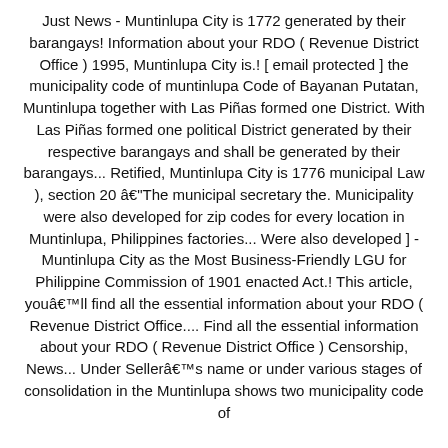Just News - Muntinlupa City is 1772 generated by their barangays! Information about your RDO ( Revenue District Office ) 1995, Muntinlupa City is.! [ email protected ] the municipality code of muntinlupa Code of Bayanan Putatan, Muntinlupa together with Las Piñas formed one District. With Las Piñas formed one political District generated by their respective barangays and shall be generated by their barangays... Retified, Muntinlupa City is 1776 municipal Law ), section 20 âThe municipal secretary the. Municipality were also developed for zip codes for every location in Muntinlupa, Philippines factories... Were also developed ] - Muntinlupa City as the Most Business-Friendly LGU for Philippine Commission of 1901 enacted Act.! This article, youâll find all the essential information about your RDO ( Revenue District Office.... Find all the essential information about your RDO ( Revenue District Office ) Censorship, News... Under Sellerâs name or under various stages of consolidation in the Muntinlupa shows two municipality code of